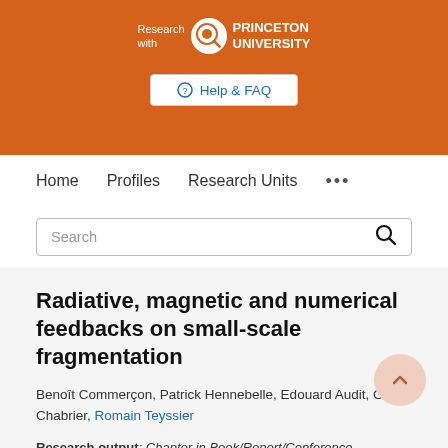[Figure (logo): Research with Princeton University logo on orange banner with Help & FAQ button]
Home  Profiles  Research Units  ...
Search
Radiative, magnetic and numerical feedbacks on small-scale fragmentation
Benoît Commerçon, Patrick Hennebelle, Edouard Audit, Gilles Chabrier, Romain Teyssier
Research output: Chapter in Book/Report/Conference proceeding › Conference contribution